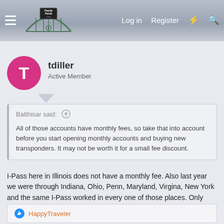PopUpPortal.com — Log in | Register
tdiller
Active Member
Balthisar said: ↑
All of those accounts have monthly fees, so take that into account before you start opening monthly accounts and buying new transponders. It may not be worth it for a small fee discount.
I-Pass here in Illinois does not have a monthly fee. Also last year we were through Indiana, Ohio, Penn, Maryland, Virgina, New York and the same I-Pass worked in every one of those places. Only place it did not work was coming back into the US in Port Huron Mi. Go figure.
👍 HappyTraveler